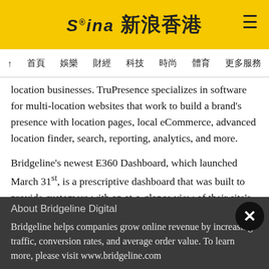[Figure (logo): Sina Hong Kong (新浪香港) logo on yellow background with hamburger menu icon]
↑  首頁  娛樂  財經  科技  時尚  體育  更多服務
location businesses. TruPresence specializes in software for multi-location websites that work to build a brand's presence with location pages, local eCommerce, advanced location finder, search, reporting, analytics, and more.
Bridgeline's newest E360 Dashboard, which launched March 31st, is a prescriptive dashboard that was built to provide customers with an at-a-glance view of their site's most important metrics, perform health checks, surface potential arising issues, and offer solutions.
About Bridgeline Digital
Bridgeline helps companies grow online revenue by increasing traffic, conversion rates, and average order value. To learn more, please visit www.bridgeline.com